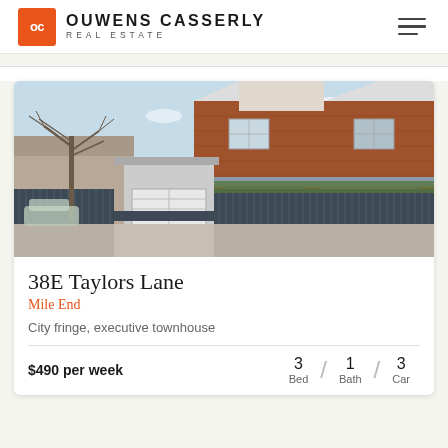[Figure (logo): Ouwens Casserly Real Estate logo with orange OC box and brand name]
[Figure (photo): Exterior photo of a brick two-storey townhouse with dark grey picket fence and garage, bare trees visible, blue sky]
38E Taylors Lane
Mile End
City fringe, executive townhouse
$490 per week
3 Bed / 1 Bath / 3 Car